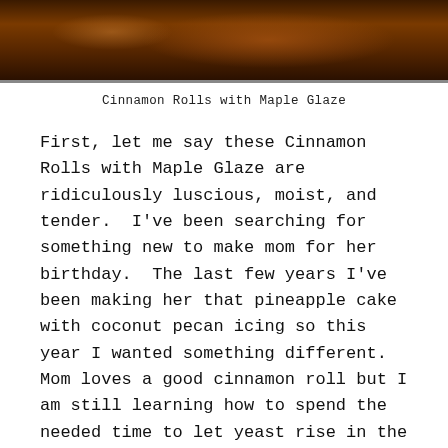[Figure (photo): Close-up photo of cinnamon rolls with maple glaze in a dark pan, showing golden-brown baked rolls with glossy glaze on top.]
Cinnamon Rolls with Maple Glaze
First, let me say these Cinnamon Rolls with Maple Glaze are ridiculously luscious, moist, and tender.  I've been searching for something new to make mom for her birthday.  The last few years I've been making her that pineapple cake with coconut pecan icing so this year I wanted something different.  Mom loves a good cinnamon roll but I am still learning how to spend the needed time to let yeast rise in the proper environment without taking up the entire day – being too exhausted to eat the product of my labor.
During December I was watching an episode of